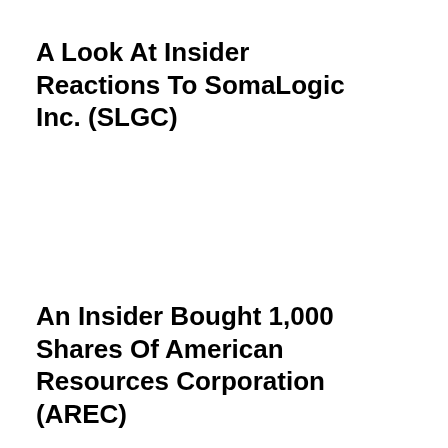A Look At Insider Reactions To SomaLogic Inc. (SLGC)
An Insider Bought 1,000 Shares Of American Resources Corporation (AREC)